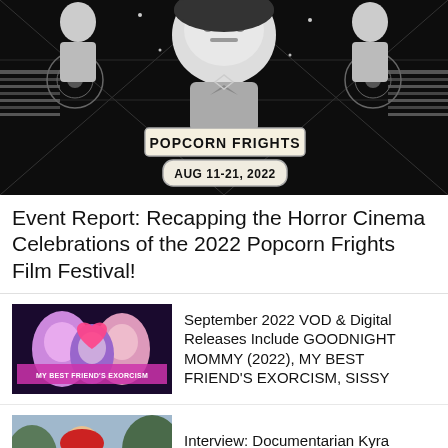[Figure (illustration): Popcorn Frights Film Festival poster with black and white graphic art showing a face with occult geometric designs, text POPCORN FRIGHTS and AUG 11-21, 2022]
Event Report: Recapping the Horror Cinema Celebrations of the 2022 Popcorn Frights Film Festival!
[Figure (photo): Thumbnail image for September 2022 VOD article showing movie poster with colorful characters]
September 2022 VOD & Digital Releases Include GOODNIGHT MOMMY (2022), MY BEST FRIEND'S EXORCISM, SISSY
[Figure (photo): Thumbnail image for Kyra Gardner interview article showing a woman with red hair and Chucky doll outdoors]
Interview: Documentarian Kyra Gardner Discusses LIVING WITH CHUCKY